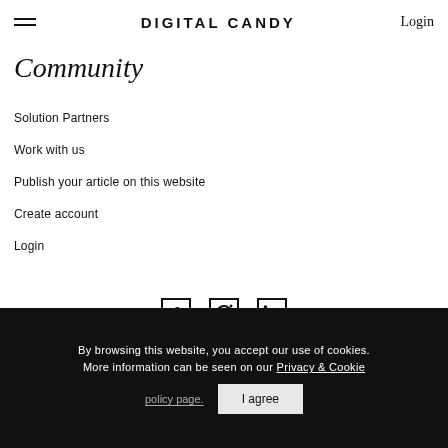DIGITAL CANDY  Login
Community
Solution Partners
Work with us
Publish your article on this website
Create account
Login
[Figure (other): Social media icons: Facebook, Instagram, LinkedIn]
By browsing this website, you accept our use of cookies. More information can be seen on our Privacy & Cookie policy page.   I agree